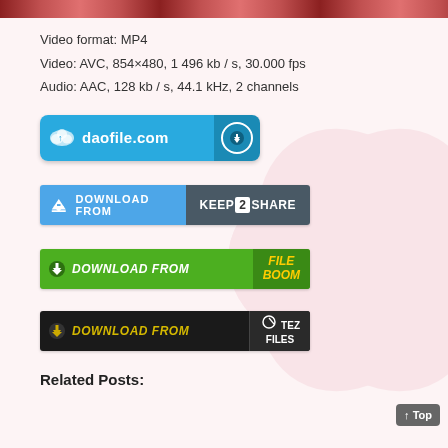[Figure (screenshot): Top image strip showing partial video thumbnail in red/dark tones]
Video format: MP4
Video: AVC, 854×480, 1 496 kb / s, 30.000 fps
Audio: AAC, 128 kb / s, 44.1 kHz, 2 channels
[Figure (screenshot): daofile.com download button - light blue with cloud icon and download arrow]
[Figure (screenshot): DOWNLOAD FROM KEEP2SHARE button - blue and dark grey]
[Figure (screenshot): DOWNLOAD FROM FILEBOOM button - green with yellow FILEBOOM logo]
[Figure (screenshot): DOWNLOAD FROM TEZFILES button - black with yellow italic text]
Related Posts: